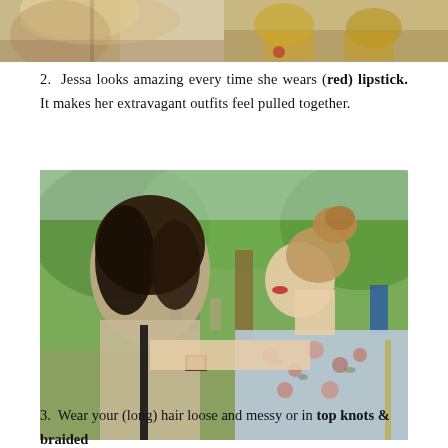[Figure (photo): Top-left cropped photo showing a blonde woman's hair and someone's shoulder in an outdoor setting]
[Figure (photo): Top-right cropped photo showing gold/metallic shoes and red flowers on a wooden surface]
2. Jessa looks amazing every time she wears (red) lipstick. It makes her extravagant outfits feel pulled together.
[Figure (photo): Two young women facing each other outdoors in a park setting. The woman on the right wears a floral light blue top and has her hair in a top knot bun. She has red lipstick. Her arm is around the other woman who has dark wavy hair and wears a beige outfit.]
3. Wear your (long) hair loose and messy or in top knots & braided